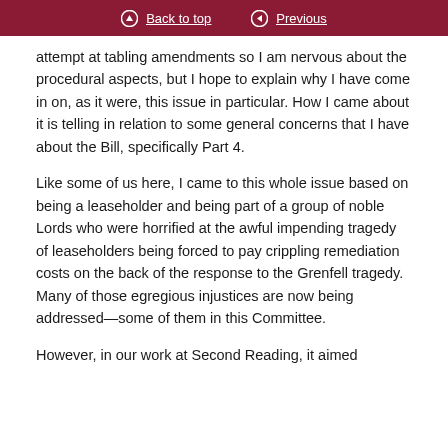Back to top | Previous
attempt at tabling amendments so I am nervous about the procedural aspects, but I hope to explain why I have come in on, as it were, this issue in particular. How I came about it is telling in relation to some general concerns that I have about the Bill, specifically Part 4.
Like some of us here, I came to this whole issue based on being a leaseholder and being part of a group of noble Lords who were horrified at the awful impending tragedy of leaseholders being forced to pay crippling remediation costs on the back of the response to the Grenfell tragedy. Many of those egregious injustices are now being addressed—some of them in this Committee.
However, in our work at Second Reading, it aimed